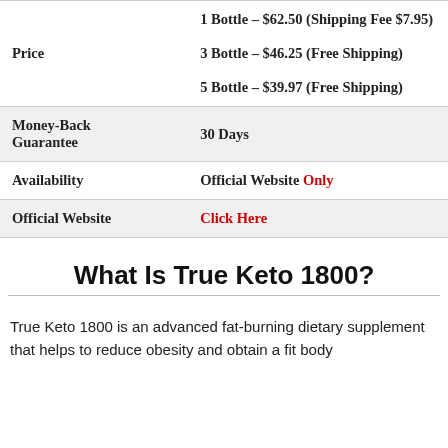|  |  |
| --- | --- |
| Price | 1 Bottle – $62.50 (Shipping Fee $7.95)
3 Bottle – $46.25 (Free Shipping)
5 Bottle – $39.97 (Free Shipping) |
| Money-Back Guarantee | 30 Days |
| Availability | Official Website (Only) |
| Official Website | Click Here |
What Is True Keto 1800?
True Keto 1800 is an advanced fat-burning dietary supplement that helps to reduce obesity and obtain a fit body